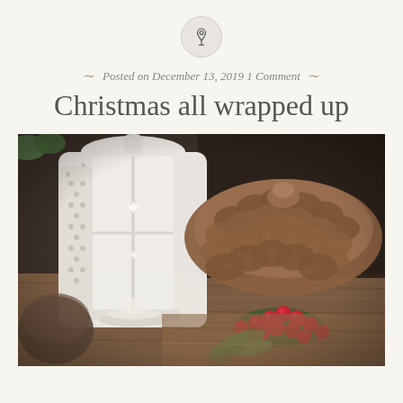[Figure (logo): A circular pin/pushpin icon on a light beige circle background, centered at top of page]
Posted on December 13, 2019 1 Comment
Christmas all wrapped up
[Figure (photo): A Christmas-themed still life photo showing a white decorative lantern with star cutouts and star etchings, pine cones, red berries/cranberries with green sprigs, all arranged on a rustic wooden surface with dark background]